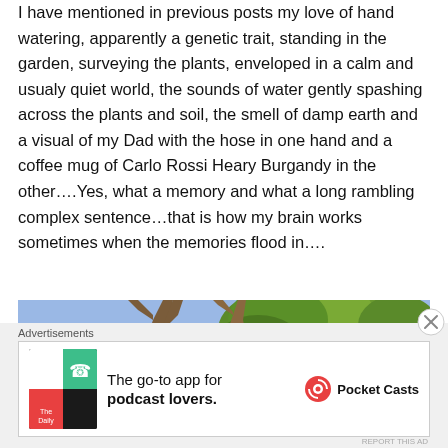I have mentioned in previous posts my love of hand watering, apparently a genetic trait, standing in the garden, surveying the plants, enveloped in a calm and usualy quiet world, the sounds of water gently spashing across the plants and soil, the smell of damp earth and a visual of my Dad with the hose in one hand and a coffee mug of Carlo Rossi Heary Burgandy in the other….Yes, what a memory and what a long rambling complex sentence…that is how my brain works sometimes when the memories flood in….
[Figure (photo): Outdoor photo showing tree branches with green foliage against a blue sky]
Advertisements
[Figure (other): Advertisement for Pocket Casts app: 'The go-to app for podcast lovers.' with Pocket Casts logo]